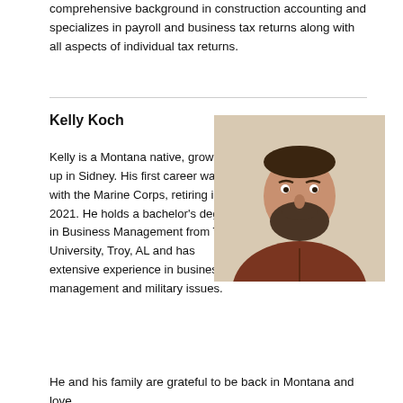comprehensive background in construction accounting and specializes in payroll and business tax returns along with all aspects of individual tax returns.
Kelly Koch
Kelly is a Montana native, growing up in Sidney. His first career was with the Marine Corps, retiring in 2021. He holds a bachelor's degree in Business Management from Troy University, Troy, AL and has extensive experience in business, management and military issues.
[Figure (photo): Portrait photo of Kelly Koch, a bearded man wearing a brown pullover and blue collared shirt, photographed against a light beige wall.]
He and his family are grateful to be back in Montana and love